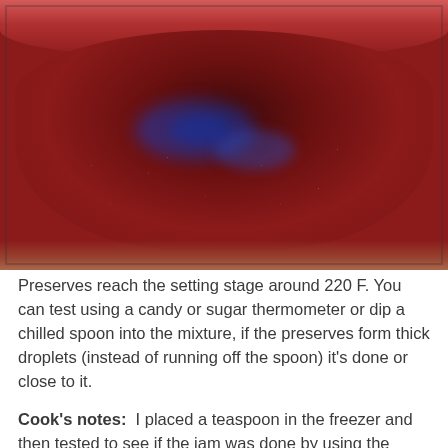[Figure (photo): Close-up photo of dark red/purple jam or preserves bubbling in a bowl, with blue reflections visible on the surface and small seeds throughout. The bowl has a pink-red rim visible at the top.]
Preserves reach the setting stage around 220 F. You can test using a candy or sugar thermometer or dip a chilled spoon into the mixture, if the preserves form thick droplets (instead of running off the spoon) it's done or close to it.
Cook's notes:  I placed a teaspoon in the freezer and then tested to see if the jam was done by using the chilled spoon to scoop the jam. If the jam doesn't run off the spoon but